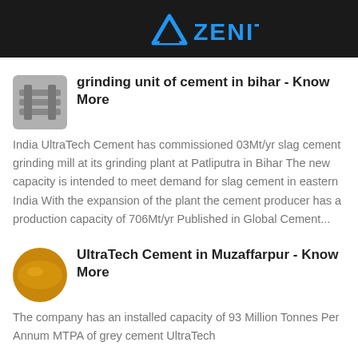ZENIT
grinding unit of cement in bihar - Know More
India UltraTech Cement has commissioned 03Mt/yr slag cement grinding mill at its grinding plant at Patliputra in Bihar The new capacity is intended to meet demand for slag cement in eastern India With the expansion of the plant the cement producer has a production capacity of 706Mt/yr Published in Global Cement...
UltraTech Cement in Muzaffarpur - Know More
The company has an installed capacity of 93 Million Tonnes Per Annum MTPA of grey cement UltraTech